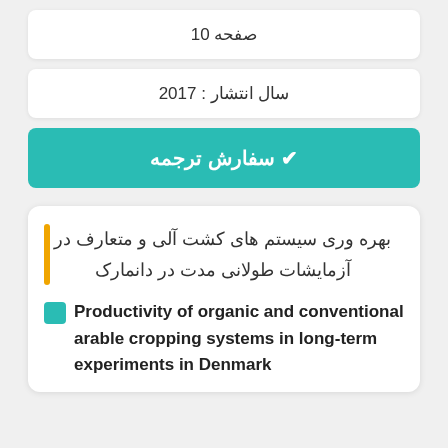10 صفحه
سال انتشار : 2017
✔ سفارش ترجمه
بهره وری سیستم های کشت آلی و متعارف در آزمایشات طولانی مدت در دانمارک
Productivity of organic and conventional arable cropping systems in long-term experiments in Denmark